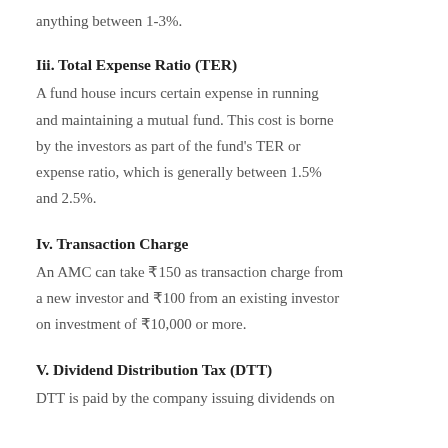anything between 1-3%.
Iii. Total Expense Ratio (TER)
A fund house incurs certain expense in running and maintaining a mutual fund. This cost is borne by the investors as part of the fund's TER or expense ratio, which is generally between 1.5% and 2.5%.
Iv. Transaction Charge
An AMC can take ₹150 as transaction charge from a new investor and ₹100 from an existing investor on investment of ₹10,000 or more.
V. Dividend Distribution Tax (DTT)
DTT is paid by the company issuing dividends on